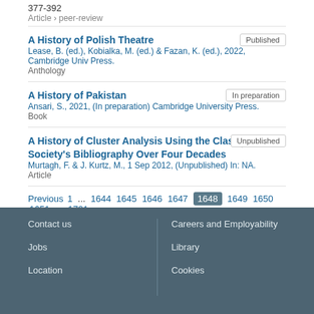377-392
Article › peer-review
A History of Polish Theatre
Lease, B. (ed.), Kobialka, M. (ed.) & Fazan, K. (ed.), 2022, Cambridge Univ Press.
Anthology
A History of Pakistan
Ansari, S., 2021, (In preparation) Cambridge University Press.
Book
A History of Cluster Analysis Using the Classification Society's Bibliography Over Four Decades
Murtagh, F. & J. Kurtz, M., 1 Sep 2012, (Unpublished) In: NA.
Article
Previous 1 ... 1644 1645 1646 1647 1648 1649 1650 1651 ... 1721 Next
Contact us | Careers and Employability | Jobs | Library | Location | Cookies